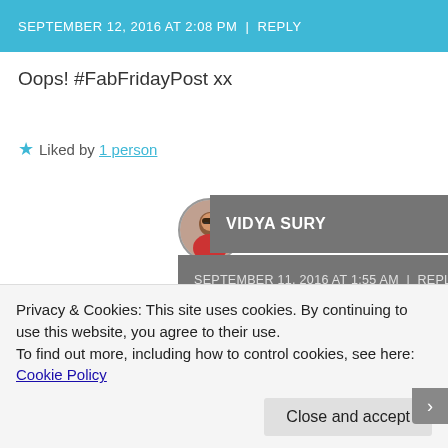SEPTEMBER 12, 2016 AT 2:08 PM | REPLY
Oops! #FabFridayPost xx
★ Liked by 1 person
VIDYA SURY
SEPTEMBER 11, 2016 AT 1:55 AM | REPLY
The K9 car seat does look cozy, bless
Privacy & Cookies: This site uses cookies. By continuing to use this website, you agree to their use.
To find out more, including how to control cookies, see here: Cookie Policy
Close and accept